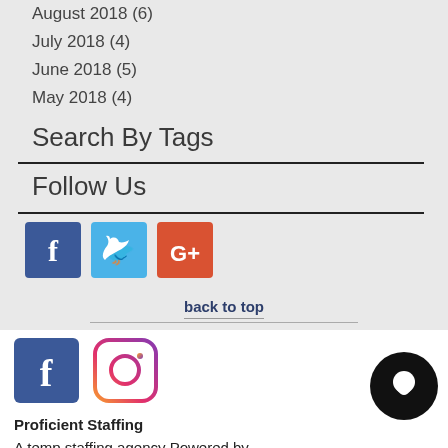August 2018 (6)
July 2018 (4)
June 2018 (5)
May 2018 (4)
Search By Tags
Follow Us
[Figure (illustration): Social media icons: Facebook (blue), Twitter (light blue), Google+ (red-orange)]
back to top
[Figure (illustration): Footer social icons: Facebook (blue square) and Instagram (gradient circle outline)]
Proficient Staffing
A temp staffing agency Powered by